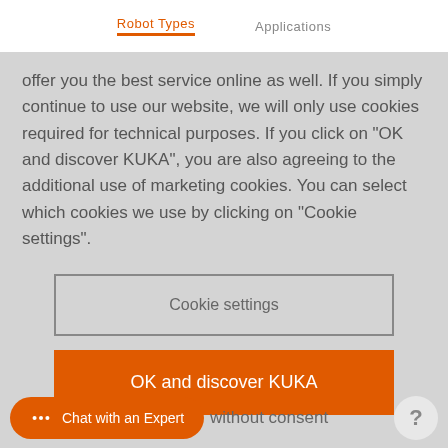Robot Types   Applications
offer you the best service online as well. If you simply continue to use our website, we will only use cookies required for technical purposes. If you click on “OK and discover KUKA”, you are also agreeing to the additional use of marketing cookies. You can select which cookies we use by clicking on “Cookie settings”.
Cookie settings
OK and discover KUKA
without consent